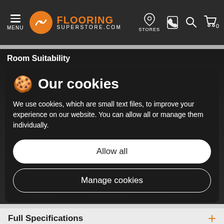[Figure (screenshot): Flooring Superstore website navigation bar with logo, hamburger menu, store locator, phone, search, and cart icons]
Room Suitability
Our cookies
We use cookies, which are small text files, to improve your experience on our website. You can allow all or manage them individually.
Allow all
Manage cookies
Study  Utility Room  Kitchen
Full Specifications